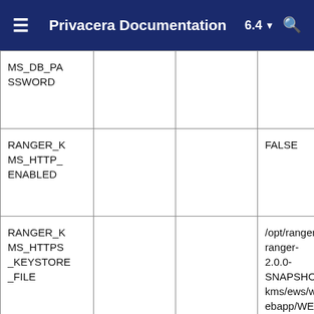Privacera Documentation 6.4
| MS_DB_PASSWORD |  |  |  |
| RANGER_KMS_HTTP_ENABLED |  |  | FALSE |
| RANGER_KMS_HTTPS_KEYSTORE_FILE |  |  | /opt/ranger/ranger-2.0.0-SNAPSHOT-kms/ews/webapp/WEB-INF/classes/conf/{{RANGER_KMS_SSL_KEYSTORE_FILEN |